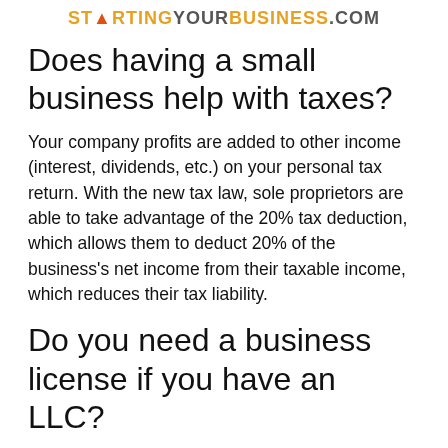STARTINGYOURBUSINESS.COM
Does having a small business help with taxes?
Your company profits are added to other income (interest, dividends, etc.) on your personal tax return. With the new tax law, sole proprietors are able to take advantage of the 20% tax deduction, which allows them to deduct 20% of the business's net income from their taxable income, which reduces their tax liability.
Do you need a business license if you have an LLC?
In most states, forming an LLC doesn't